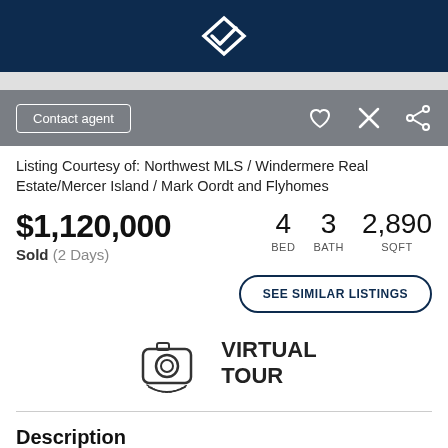[Figure (logo): Windermere/Flyhomes logo diamond shape in white on dark navy background]
Contact agent
Listing Courtesy of: Northwest MLS / Windermere Real Estate/Mercer Island / Mark Oordt and Flyhomes
$1,120,000
Sold (2 Days)
4 BED  3 BATH  2,890 SQFT
SEE SIMILAR LISTINGS
[Figure (illustration): Camera icon with circular base suggesting virtual tour]
VIRTUAL TOUR
Description
Tucked in a gated enclave, this move-in ready home